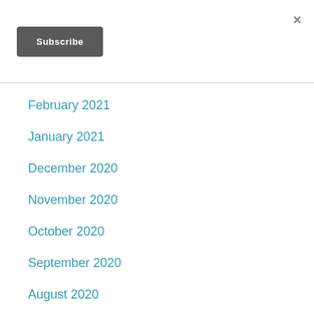×
Subscribe
February 2021
January 2021
December 2020
November 2020
October 2020
September 2020
August 2020
July 2020